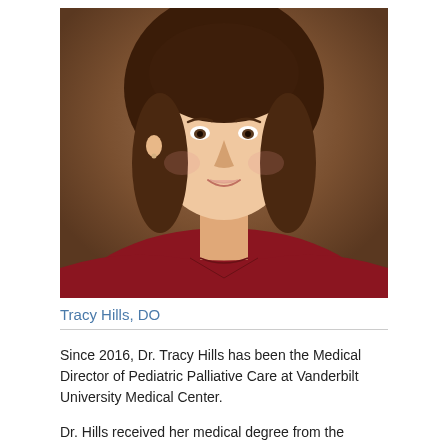[Figure (photo): Professional headshot of Tracy Hills, DO — a woman with brown shoulder-length hair, smiling, wearing a red top, against a brown/warm studio background.]
Tracy Hills, DO
Since 2016, Dr. Tracy Hills has been the Medical Director of Pediatric Palliative Care at Vanderbilt University Medical Center.
Dr. Hills received her medical degree from the